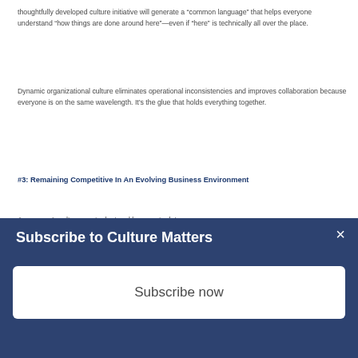thoughtfully developed culture initiative will generate a “common language” that helps everyone understand “how things are done around here”—even if “here” is technically all over the place.
Dynamic organizational culture eliminates operational inconsistencies and improves collaboration because everyone is on the same wavelength. It’s the glue that holds everything together.
#3: Remaining Competitive In An Evolving Business Environment
A company’s culture must adapt and keep up to date...
Subscribe to Culture Matters
Subscribe now